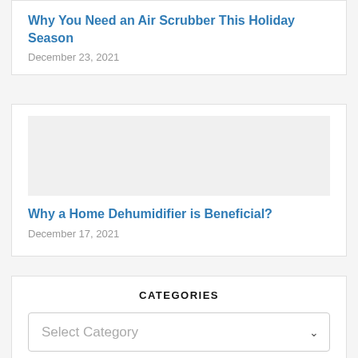Why You Need an Air Scrubber This Holiday Season
December 23, 2021
Why a Home Dehumidifier is Beneficial?
December 17, 2021
CATEGORIES
Select Category